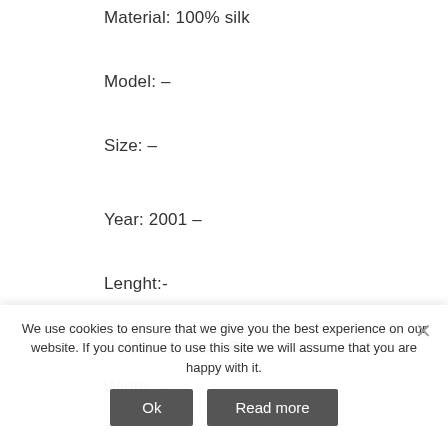Material: 100% silk
Model: –
Size: –
Year: 2001 –
Lenght:-
Colour: Brown-Red
Width: –
View Condition Grading System
We use cookies to ensure that we give you the best experience on our website. If you continue to use this site we will assume that you are happy with it.